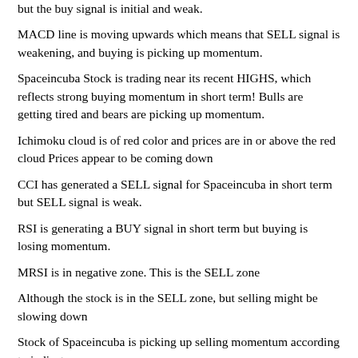but the buy signal is initial and weak.
MACD line is moving upwards which means that SELL signal is weakening, and buying is picking up momentum.
Spaceincuba Stock is trading near its recent HIGHS, which reflects strong buying momentum in short term! Bulls are getting tired and bears are picking up momentum.
Ichimoku cloud is of red color and prices are in or above the red cloud Prices appear to be coming down
CCI has generated a SELL signal for Spaceincuba in short term but SELL signal is weak.
RSI is generating a BUY signal in short term but buying is losing momentum.
MRSI is in negative zone. This is the SELL zone
Although the stock is in the SELL zone, but selling might be slowing down
Stock of Spaceincuba is picking up selling momentum according to indicator.
Volume based indicators are showing selling momentum.
Volume Weighted Averaged Price (VWAP) for short term is 2.7...